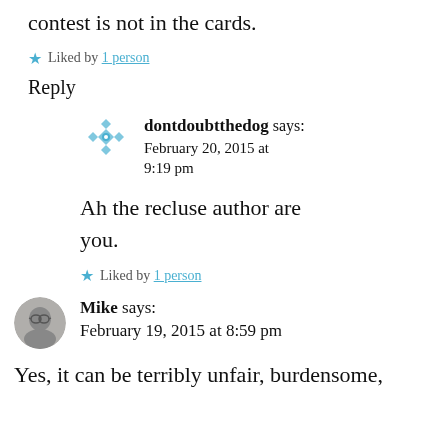contest is not in the cards.
Liked by 1 person
Reply
dontdoubtthedog says: February 20, 2015 at 9:19 pm
Ah the recluse author are you.
Liked by 1 person
Mike says: February 19, 2015 at 8:59 pm
Yes, it can be terribly unfair, burdensome,